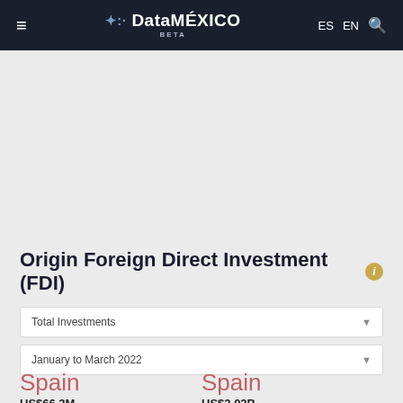≡  DataMÉXICO BETA  ES  EN  🔍
Origin Foreign Direct Investment (FDI)
Total Investments
January to March 2022
Spain
US$66.3M
Spain
US$2.02B